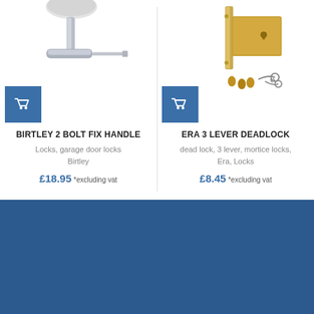[Figure (photo): Birtley 2 bolt fix handle – silver/chrome T-bar handle with spindle mechanism, shown against white background, with blue shopping cart button overlay]
BIRTLEY 2 BOLT FIX HANDLE
Locks, garage door locks
Birtley
£18.95 *excluding vat
[Figure (photo): Era 3 lever deadlock – brass/gold deadlock body with faceplate, screws, and two keys shown below, with blue shopping cart button overlay]
ERA 3 LEVER DEADLOCK
dead lock, 3 lever, mortice locks, Era, Locks
£8.45 *excluding vat